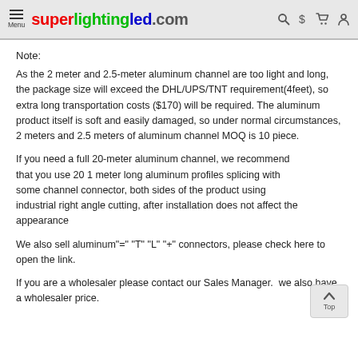superlightingled.com
Note:
As the 2 meter and 2.5-meter aluminum channel are too light and long, the package size will exceed the DHL/UPS/TNT requirement(4feet), so extra long transportation costs ($170) will be required. The aluminum product itself is soft and easily damaged, so under normal circumstances, 2 meters and 2.5 meters of aluminum channel MOQ is 10 piece.
If you need a full 20-meter aluminum channel, we recommend that you use 20 1 meter long aluminum profiles splicing with some channel connector, both sides of the product using industrial right angle cutting, after installation does not affect the appearance
We also sell aluminum"=" "T" "L" "+" connectors, please check here to open the link.
If you are a wholesaler please contact our Sales Manager.  we also have a wholesaler price.